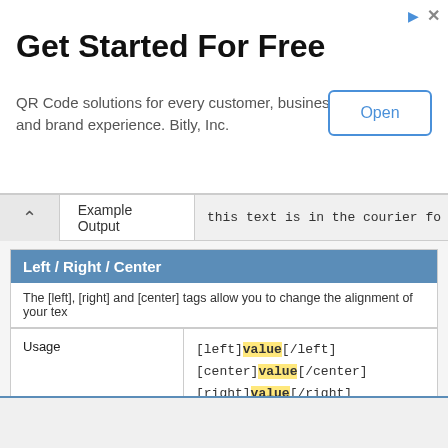Get Started For Free
QR Code solutions for every customer, business and brand experience. Bitly, Inc.
Open
Example Output  this text is in the courier fo
Left / Right / Center
The [left], [right] and [center] tags allow you to change the alignment of your tex
|  |  |
| --- | --- |
| Usage | [left]value[/left]
[center]value[/center]
[right]value[/right] |
| Example Usage | [left]this text is left-aligned[/left]
[center]this text is center-aligned[/center]
[right]this text is right-aligned[/right] |
| Example Output | this text is left-aligned
                    this text is cent |